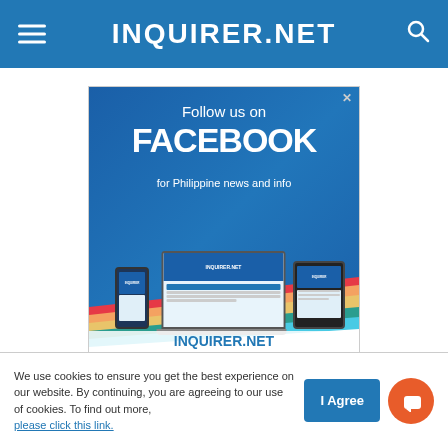INQUIRER.NET
[Figure (illustration): Advertisement banner for INQUIRER.NET Facebook page. Blue background with rainbow diagonal stripes and device mockups (phone, laptop, tablet) showing INQUIRER.NET Facebook page. Text reads: Follow us on FACEBOOK for Philippine news and info. INQUIRER.NET]
We use cookies to ensure you get the best experience on our website. By continuing, you are agreeing to our use of cookies. To find out more, please click this link.